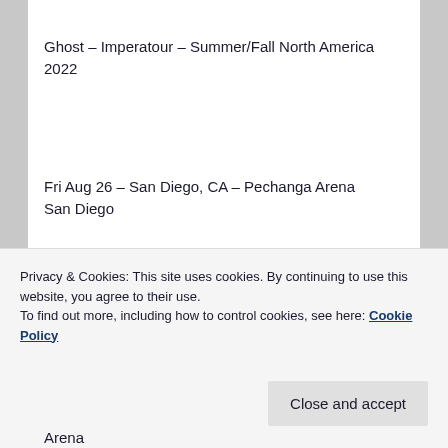Ghost – Imperatour – Summer/Fall North America 2022
Fri Aug 26 – San Diego, CA – Pechanga Arena San Diego
Sat Aug 27 – Tucson, AZ – Tucson Convention Center Arena
Privacy & Cookies: This site uses cookies. By continuing to use this website, you agree to their use.
To find out more, including how to control cookies, see here: Cookie Policy
Close and accept
Arena